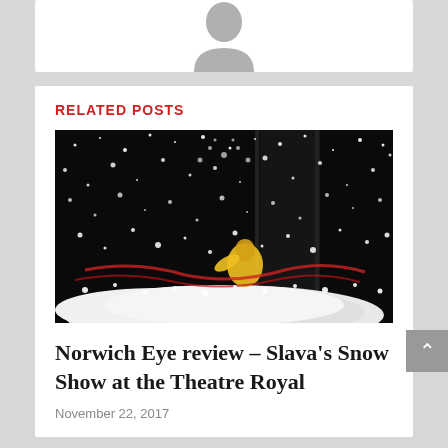[Figure (photo): Partial author avatar/profile image placeholder, cropped at top of page]
RELATED POSTS
[Figure (photo): A dramatic snow show performance photo: a figure in a yellow costume surrounded by a massive explosion of white snow/confetti against a dark background, with red decorations visible]
Norwich Eye review – Slava's Snow Show at the Theatre Royal
November 22, 2017